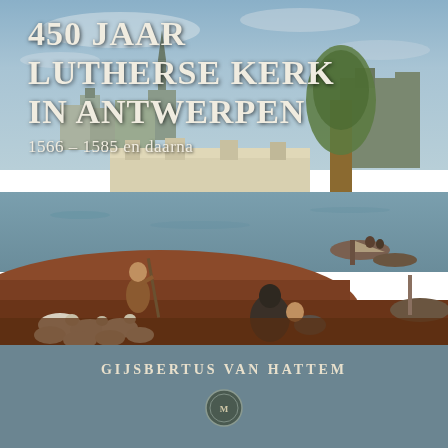450 JAAR LUTHERSE KERK IN ANTWERPEN
1566 – 1585 en daarna
[Figure (illustration): Historic painting of Antwerp cityscape with river, city walls, church spires, boats on water, shepherd with sheep in foreground, and figures resting on riverbank]
GIJSBERTUS VAN HATTEM
[Figure (logo): Publisher logo/medallion at bottom center of cover]